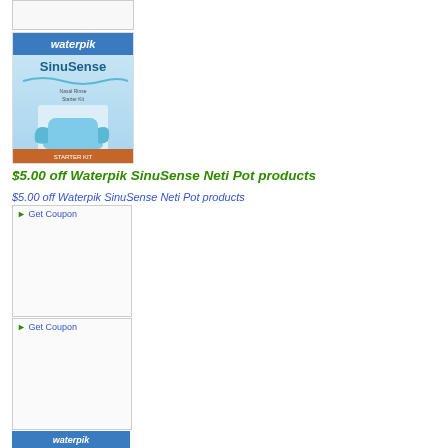[Figure (photo): Top cropped product image placeholder box]
[Figure (photo): Waterpik SinuSense Neti Pot product box image showing blue and teal packaging with product name and nasal rinse device]
$5.00 off Waterpik SinuSense Neti Pot products
$5.00 off Waterpik SinuSense Neti Pot products
[Figure (photo): Get Coupon button image placeholder - first coupon box]
[Figure (photo): Get Coupon button image placeholder - second coupon box]
[Figure (photo): Bottom Waterpik product image partially visible]